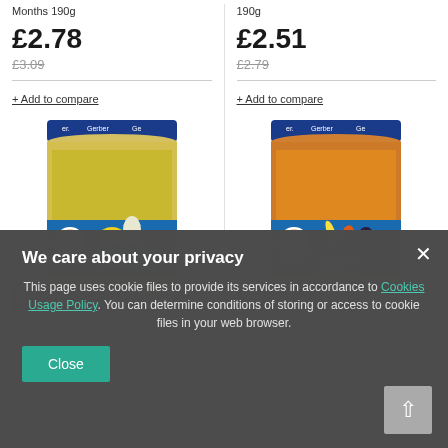Months 190g
190g
£2.78
£3.09
£2.51
£2.79
+ Add to compare
+ Add to compare
[Figure (photo): Gerber baby food jar with yellow/green puree, blue label with baby logo, showing zucchini and chicken, with ON SPECIAL OFFER badge]
[Figure (photo): Gerber baby food jar with orange puree, blue label with baby logo, showing banana, carrot and blackberry, with ON SPECIAL OFFER badge]
We care about your privacy
This page uses cookie files to provide its services in accordance to Cookies Usage Policy. You can determine conditions of storing or access to cookie files in your web browser.
Close